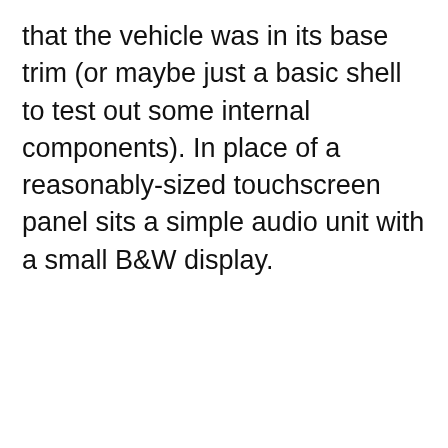that the vehicle was in its base trim (or maybe just a basic shell to test out some internal components). In place of a reasonably-sized touchscreen panel sits a simple audio unit with a small B&W display.